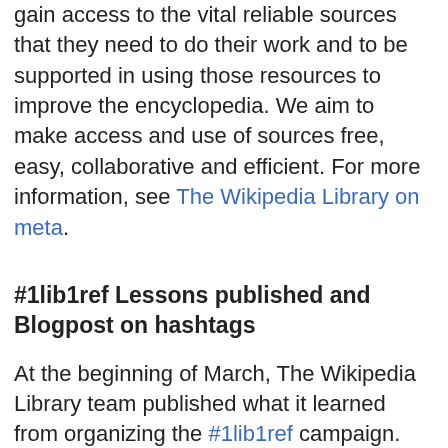gain access to the vital reliable sources that they need to do their work and to be supported in using those resources to improve the encyclopedia. We aim to make access and use of sources free, easy, collaborative and efficient. For more information, see The Wikipedia Library on meta.
#1lib1ref Lessons published and Blogpost on hashtags
At the beginning of March, The Wikipedia Library team published what it learned from organizing the #1lib1ref campaign. The event, which asked librarians to add one more reference to Wikipedia, successfully engaged librarians and Wikimedia